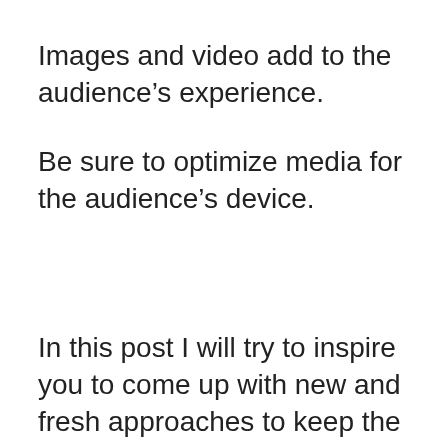Images and video add to the audience’s experience.
Be sure to optimize media for the audience’s device.
In this post I will try to inspire you to come up with new and fresh approaches to keep the fun going.